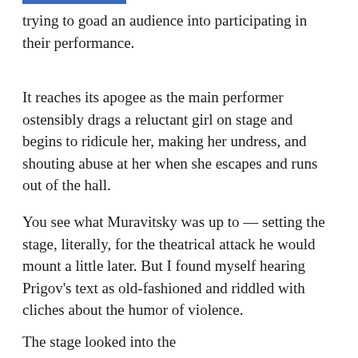trying to goad an audience into participating in their performance.
It reaches its apogee as the main performer ostensibly drags a reluctant girl on stage and begins to ridicule her, making her undress, and shouting abuse at her when she escapes and runs out of the hall.
You see what Muravitsky was up to — setting the stage, literally, for the theatrical attack he would mount a little later. But I found myself hearing Prigov's text as old-fashioned and riddled with cliches about the humor of violence.
The stage looked into the